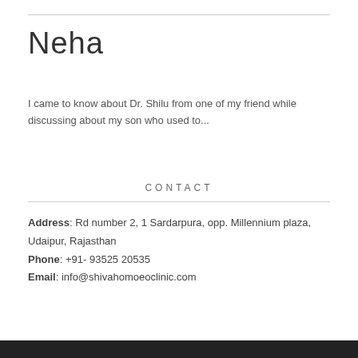Neha
I came to know about Dr. Shilu from one of my friend while discussing about my son who used to...
CONTACT
Address: Rd number 2, 1 Sardarpura, opp. Millennium plaza, Udaipur, Rajasthan
Phone: +91- 93525 20535
Email: info@shivahomoeoclinic.com